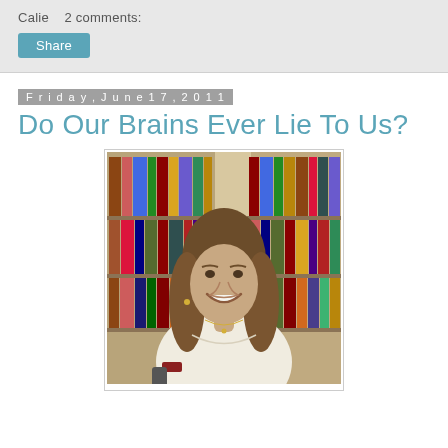Calie   2 comments:
Share
Friday, June 17, 2011
Do Our Brains Ever Lie To Us?
[Figure (photo): Person with shoulder-length brown hair wearing a white tank top, sitting in front of a bookshelf in a library setting, smiling at the camera.]